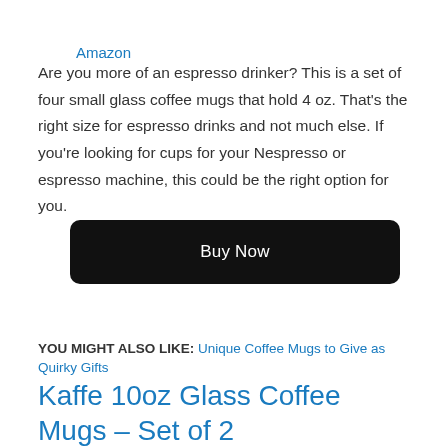Amazon
Are you more of an espresso drinker? This is a set of four small glass coffee mugs that hold 4 oz. That’s the right size for espresso drinks and not much else. If you’re looking for cups for your Nespresso or espresso machine, this could be the right option for you.
[Figure (other): Black rounded rectangle button with white text reading 'Buy Now']
YOU MIGHT ALSO LIKE: Unique Coffee Mugs to Give as Quirky Gifts
Kaffe 10oz Glass Coffee Mugs – Set of 2